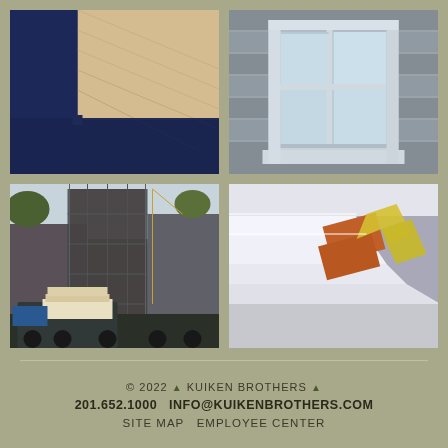[Figure (photo): Close-up of dark navy blue painted steel structural beams at a corner, with diagonal wood siding visible in background]
[Figure (photo): White double-hung window with grid panes set in grey shingle/brick siding with white trim surround]
[Figure (photo): Urban construction site with tall scaffolding covered in dark wrapping, crane and delivery trucks with stacked materials in foreground]
[Figure (engineering-diagram): 3D rendering of architectural cornice/trim profile detail showing white molding with orange brick and yellow insulation insert]
© 2022 ▲ KUIKEN BROTHERS ▲
201.652.1000   INFO@KUIKENBROTHERS.COM
SITE MAP   EMPLOYEE CENTER